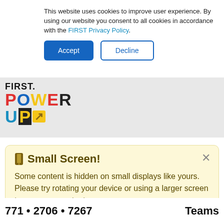This website uses cookies to improve user experience. By using our website you consent to all cookies in accordance with the FIRST Privacy Policy.
Accept | Decline
[Figure (logo): FIRST Power UP logo with colorful letters on grey banner background]
📱 Small Screen!
Some content is hidden on small displays like yours. Please try rotating your device or using a larger screen to see more content.
771 • 2706 • 7267    Teams